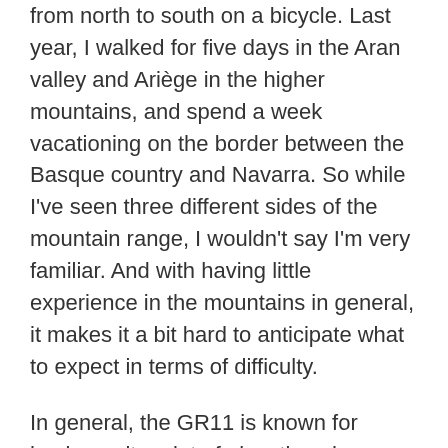from north to south on a bicycle. Last year, I walked for five days in the Aran valley and Ariège in the higher mountains, and spend a week vacationing on the border between the Basque country and Navarra. So while I've seen three different sides of the mountain range, I wouldn't say I'm very familiar. And with having little experience in the mountains in general, it makes it a bit hard to anticipate what to expect in terms of difficulty.
In general, the GR11 is known for having quite a lot of elevation change (around 46.000m across its entire length. That's more than five Everests!) but it doesn't require any serious climbing or mountaineering. Unless there are snowfields, which I hope to avoid by starting somewhat late in mid July.
There are some higher passes that require some